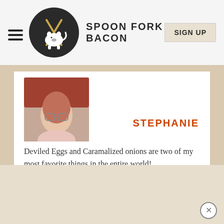SPOON FORK BACON | SIGN UP
STEPHANIE
Deviled Eggs and Caramalized onions are two of my most favorite things in the entire world!
These might have to make an appearance at my house soon.
http://aneducationindomestication.com
REPLY